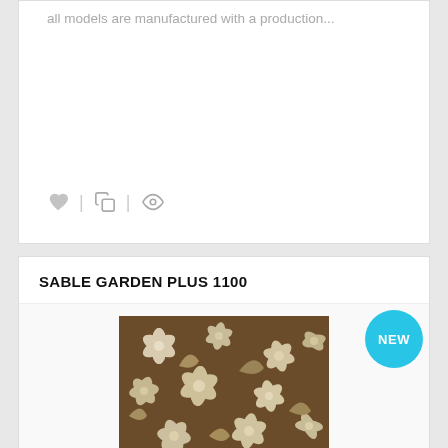all models are manufactured with a production...
SABLE GARDEN PLUS 1100
[Figure (photo): Close-up photo of a brown floral/botanical fabric pattern with cream-colored flower and leaf designs on a dark brown background]
90,00 TL
Sable all models Kolleksiyonuna the Garden Plus definitely are manufactured with a production technology...